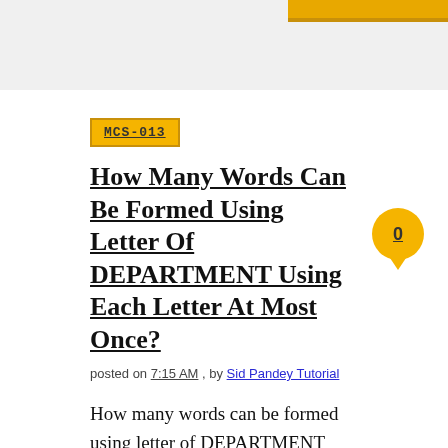MCS-013
How Many Words Can Be Formed Using Letter Of DEPARTMENT Using Each Letter At Most Once?
posted on 7:15 AM , by Sid Pandey Tutorial
How many words can be formed using letter of DEPARTMENT using each letter at most once? i) If each letter must be used, ii) If some or all the letters may be omitted ...